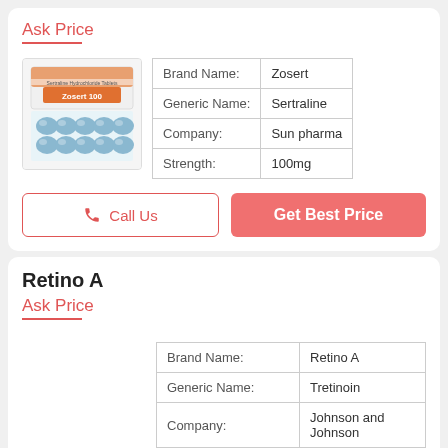Ask Price
[Figure (photo): Zosert 100 sertraline tablets blister pack box]
| Brand Name: | Zosert |
| Generic Name: | Sertraline |
| Company: | Sun pharma |
| Strength: | 100mg |
Call Us
Get Best Price
Retino A
Ask Price
| Brand Name: | Retino A |
| Generic Name: | Tretinoin |
| Company: | Johnson and Johnson |